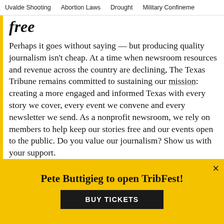Uvalde Shooting   Abortion Laws   Drought   Military Confinement
free
Perhaps it goes without saying — but producing quality journalism isn't cheap. At a time when newsroom resources and revenue across the country are declining, The Texas Tribune remains committed to sustaining our mission: creating a more engaged and informed Texas with every story we cover, every event we convene and every newsletter we send. As a nonprofit newsroom, we rely on members to help keep our stories free and our events open to the public. Do you value our journalism? Show us with your support.
Pete Buttigieg to open TribFest!
BUY TICKETS